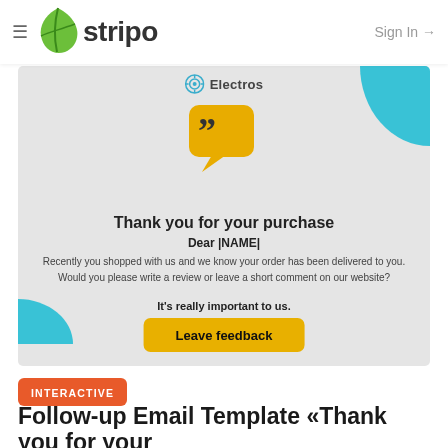≡ stripo  Sign In →
[Figure (screenshot): Email template preview for 'Thank you for your purchase' from Electros brand. Shows a quote bubble icon in yellow/amber color on a light gray background with teal blue decorative corner shapes. Contains heading 'Thank you for your purchase', subheading 'Dear |NAME|', body text about leaving a review, bold line 'It's really important to us.' and a yellow 'Leave feedback' button.]
Thank you for your purchase
Dear |NAME|
Recently you shopped with us and we know your order has been delivered to you. Would you please write a review or leave a short comment on our website?
It's really important to us.
INTERACTIVE
Follow-up Email Template «Thank you for your